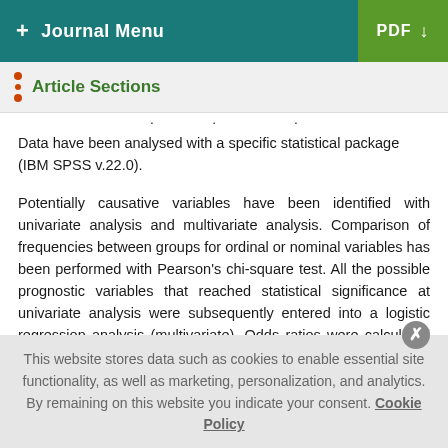+ Journal Menu   PDF ↓
Article Sections
Data have been analysed with a specific statistical package (IBM SPSS v.22.0).
Potentially causative variables have been identified with univariate analysis and multivariate analysis. Comparison of frequencies between groups for ordinal or nominal variables has been performed with Pearson's chi-square test. All the possible prognostic variables that reached statistical significance at univariate analysis were subsequently entered into a logistic regression analysis (multivariate). Odds ratios were calculated as the exponential of the coefficient in the regression model...
This website stores data such as cookies to enable essential site functionality, as well as marketing, personalization, and analytics. By remaining on this website you indicate your consent. Cookie Policy